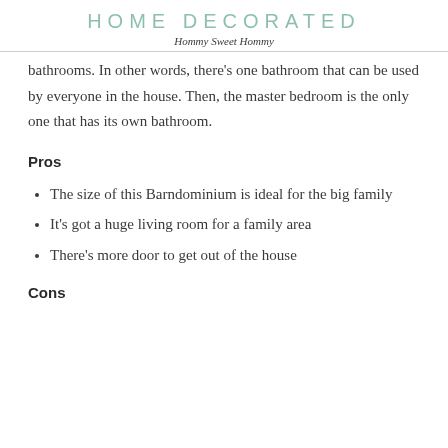HOME DECORATED
Hommy Sweet Hommy
bathrooms. In other words, there's one bathroom that can be used by everyone in the house. Then, the master bedroom is the only one that has its own bathroom.
Pros
The size of this Barndominium is ideal for the big family
It's got a huge living room for a family area
There's more door to get out of the house
Cons